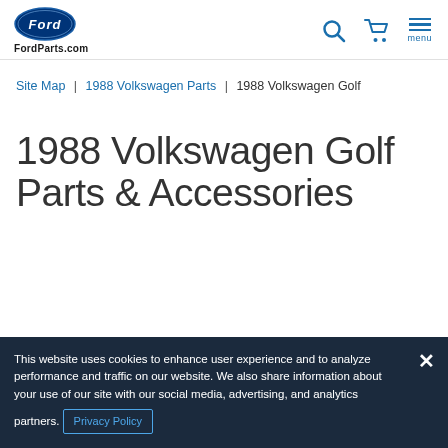FordParts.com — Ford logo header with search, cart, and menu icons
Site Map | 1988 Volkswagen Parts | 1988 Volkswagen Golf
1988 Volkswagen Golf Parts & Accessories
This website uses cookies to enhance user experience and to analyze performance and traffic on our website. We also share information about your use of our site with our social media, advertising, and analytics partners. Privacy Policy